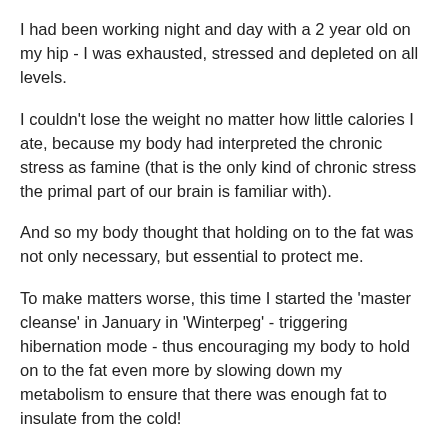I had been working night and day with a 2 year old on my hip - I was exhausted, stressed and depleted on all levels.
I couldn't lose the weight no matter how little calories I ate, because my body had interpreted the chronic stress as famine (that is the only kind of chronic stress the primal part of our brain is familiar with).
And so my body thought that holding on to the fat was not only necessary, but essential to protect me.
To make matters worse, this time I started the 'master cleanse' in January in 'Winterpeg' - triggering hibernation mode - thus encouraging my body to hold on to the fat even more by slowing down my metabolism to ensure that there was enough fat to insulate from the cold!
The reason this kind of 'cleanse' didn't work for me, even though it worked in the past, is because my body was in a state of deficiency and the last thing it needed was to be depleted nutritionally.
The cleanse itself was another stress to add to the stress and there